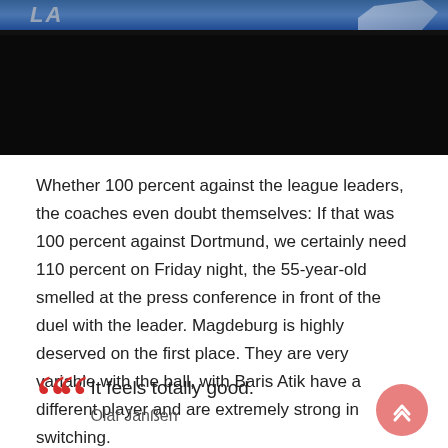[Figure (photo): Top portion of an image showing a dark background with blurred sports/stadium scene at top, fading to black at bottom.]
Whether 100 percent against the league leaders, the coaches even doubt themselves: If that was 100 percent against Dortmund, we certainly need 110 percent on Friday night, the 55-year-old smelled at the press conference in front of the duel with the leader. Magdeburg is highly deserved on the first place. They are very variable with the ball, with Baris Atik have a different player and are extremely strong in switching.
It feels totally good.
Olaf Janßen